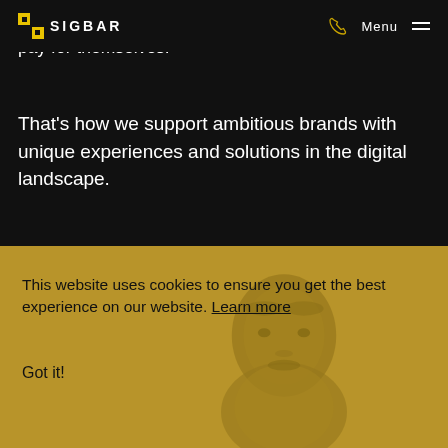SIGBAR
To make beautiful things that work and pay for themselves.
That's how we support ambitious brands with unique experiences and solutions in the digital landscape.
This website uses cookies to ensure you get the best experience on our website. Learn more
Got it!